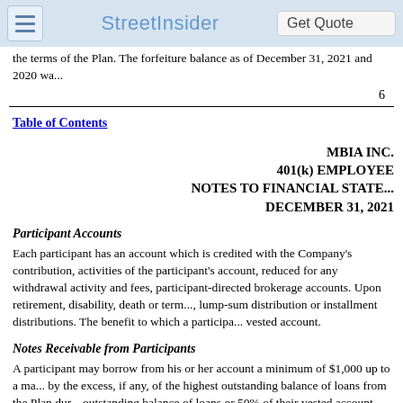StreetInsider | Get Quote
the terms of the Plan. The forfeiture balance as of December 31, 2021 and 2020 wa...
6
Table of Contents
MBIA INC.
401(k) EMPLOYEE
NOTES TO FINANCIAL STATE...
DECEMBER 31, 2021
Participant Accounts
Each participant has an account which is credited with the Company's contribution, activities of the participant's account, reduced for any withdrawal activity and fees, participant-directed brokerage accounts. Upon retirement, disability, death or termination, lump-sum distribution or installment distributions. The benefit to which a participant is vested account.
Notes Receivable from Participants
A participant may borrow from his or her account a minimum of $1,000 up to a maximum by the excess, if any, of the highest outstanding balance of loans from the Plan during outstanding balance of loans or 50% of their vested account balance reduced by the...